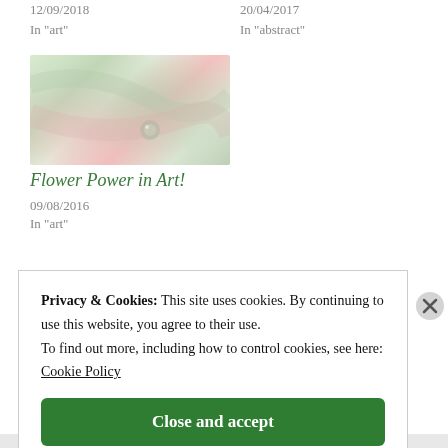12/09/2018
In "art"
20/04/2017
In "abstract"
[Figure (photo): Close-up macro photo of flower petals with a water droplet, soft pink and green tones]
Flower Power in Art!
09/08/2016
In "art"
Privacy & Cookies: This site uses cookies. By continuing to use this website, you agree to their use.
To find out more, including how to control cookies, see here: Cookie Policy

Close and accept